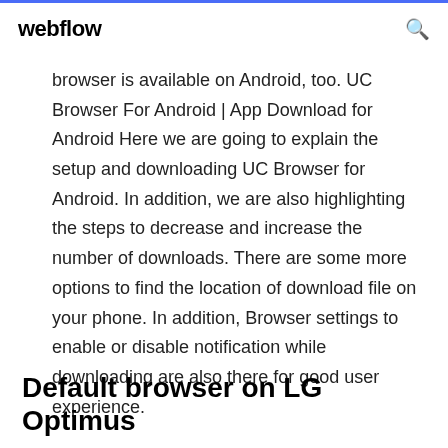webflow
browser is available on Android, too. UC Browser For Android | App Download for Android Here we are going to explain the setup and downloading UC Browser for Android. In addition, we are also highlighting the steps to decrease and increase the number of downloads. There are some more options to find the location of download file on your phone. In addition, Browser settings to enable or disable notification while downloading are also there for good user experience.
Default browser on LG Optimus